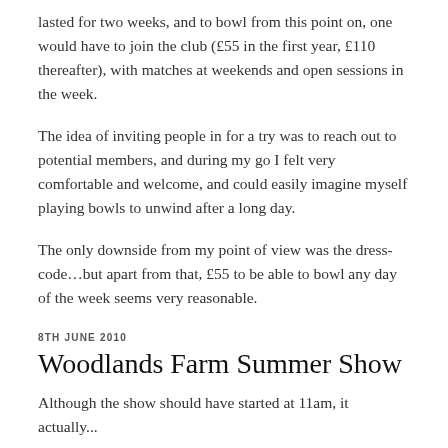lasted for two weeks, and to bowl from this point on, one would have to join the club (£55 in the first year, £110 thereafter), with matches at weekends and open sessions in the week.
The idea of inviting people in for a try was to reach out to potential members, and during my go I felt very comfortable and welcome, and could easily imagine myself playing bowls to unwind after a long day.
The only downside from my point of view was the dress-code…but apart from that, £55 to be able to bowl any day of the week seems very reasonable.
8TH JUNE 2010
Woodlands Farm Summer Show
Although the show should have started at 11am, it actually...